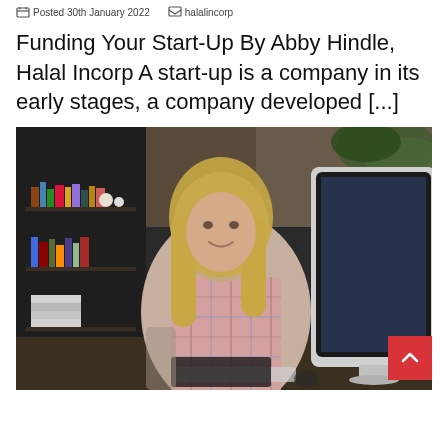Posted 30th January 2022  halalincorp
Funding Your Start-Up By Abby Hindle, Halal Incorp A start-up is a company in its early stages, a company developed [...]
[Figure (photo): A smiling woman in a plaid shirt sitting at a desk in front of a large iMac computer monitor, with bookshelves visible in the background.]